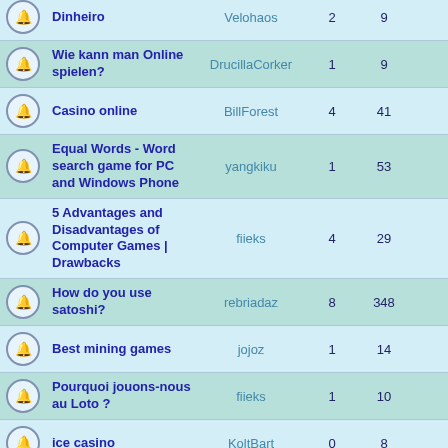|  | Topic | Author | Replies | Views | Last Post |
| --- | --- | --- | --- | --- | --- |
| [icon] | Dinheiro | Velohaos | 2 | 9 |  |
| [icon] | Wie kann man Online spielen? | DrucillaCorker | 1 | 9 | Sat Au |
| [icon] | Casino online | BillForest | 4 | 41 | Fri Au |
| [icon] | Equal Words - Word search game for PC and Windows Phone | yangkiku | 1 | 53 | Fri Au G |
| [icon] | 5 Advantages and Disadvantages of Computer Games | Drawbacks | fiieks | 4 | 29 | Thu Au |
| [icon] | How do you use satoshi? | rebriadaz | 8 | 348 | Thu Au |
| [icon] | Best mining games | jojoz | 1 | 14 | Thu Au |
| [icon] | Pourquoi jouons-nous au Loto ? | fiieks | 1 | 10 | Wed A Dr |
| [icon] | ice casino | KoltBart | 0 | 8 | Tue Au |
| [icon] |  |  |  |  | Tue Au |